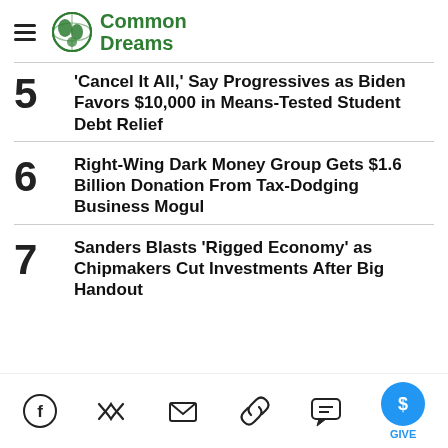Common Dreams
5 'Cancel It All,' Say Progressives as Biden Favors $10,000 in Means-Tested Student Debt Relief
6 Right-Wing Dark Money Group Gets $1.6 Billion Donation From Tax-Dodging Business Mogul
7 Sanders Blasts 'Rigged Economy' as Chipmakers Cut Investments After Big Handout
Social share icons: Facebook, Twitter, Email, Link, Comment, GIVE